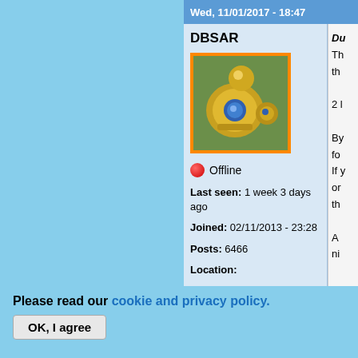Wed, 11/01/2017 - 18:47
DBSAR
[Figure (photo): Avatar photo showing golden metallic bullet/connector component with blue lens on green background, framed with orange border]
🔴 Offline
Last seen: 1 week 3 days ago
Joined: 02/11/2013 - 23:28
Posts: 6466
Location:
Please read our cookie and privacy policy.
By continuing to use this site you are agreeing to our cookie and privacy policy. No, give me more info
OK, I agree